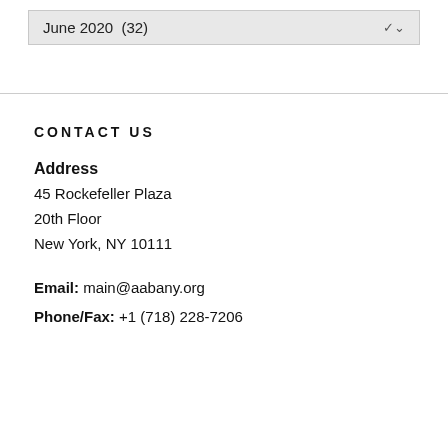June 2020  (32)
CONTACT US
Address
45 Rockefeller Plaza
20th Floor
New York, NY 10111
Email: main@aabany.org
Phone/Fax: +1 (718) 228-7206